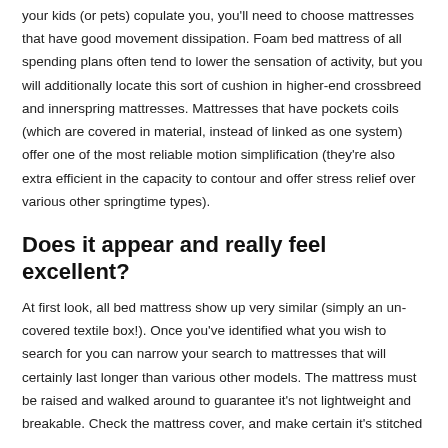your kids (or pets) copulate you, you'll need to choose mattresses that have good movement dissipation. Foam bed mattress of all spending plans often tend to lower the sensation of activity, but you will additionally locate this sort of cushion in higher-end crossbreed and innerspring mattresses. Mattresses that have pockets coils (which are covered in material, instead of linked as one system) offer one of the most reliable motion simplification (they're also extra efficient in the capacity to contour and offer stress relief over various other springtime types).
Does it appear and really feel excellent?
At first look, all bed mattress show up very similar (simply an un-covered textile box!). Once you've identified what you wish to search for you can narrow your search to mattresses that will certainly last longer than various other models. The mattress must be raised and walked around to guarantee it's not lightweight and breakable. Check the mattress cover, and make certain it's stitched